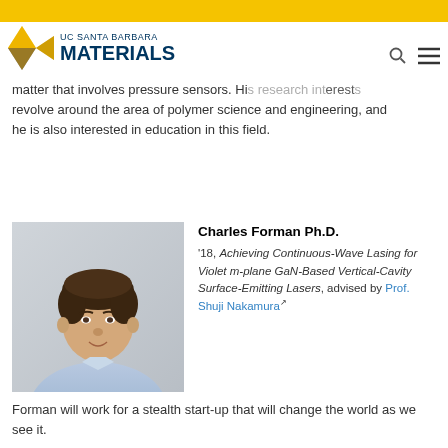UC Santa Barbara Materials
university, working for Professor Carrier Majidi in the area of soft matter that involves pressure sensors. His research interests revolve around the area of polymer science and engineering, and he is also interested in education in this field.
[Figure (photo): Headshot photo of Charles Forman Ph.D., a young man with dark hair wearing a light blue shirt, against a light gray background.]
Charles Forman Ph.D.
'18, Achieving Continuous-Wave Lasing for Violet m-plane GaN-Based Vertical-Cavity Surface-Emitting Lasers, advised by Prof. Shuji Nakamura
Forman will work for a stealth start-up that will change the world as we see it.